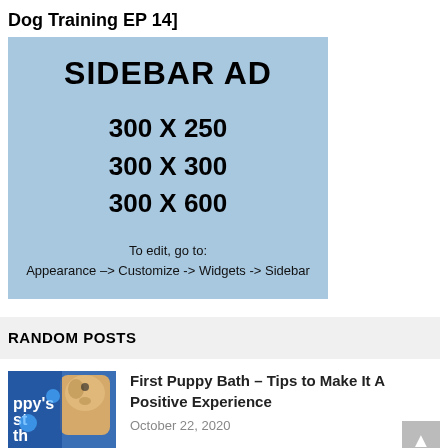Dog Training EP 14]
[Figure (other): Sidebar advertisement placeholder showing dimensions 300 X 250, 300 X 300, 300 X 600 with instructions to edit via Appearance -> Customize -> Widgets -> Sidebar]
RANDOM POSTS
[Figure (photo): Thumbnail image for First Puppy Bath post showing a puppy with blue background and text overlays]
First Puppy Bath – Tips to Make It A Positive Experience
October 22, 2020